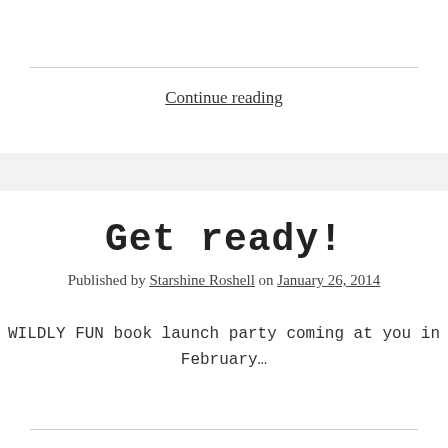Continue reading
Get ready!
Published by Starshine Roshell on January 26, 2014
WILDLY FUN book launch party coming at you in February…